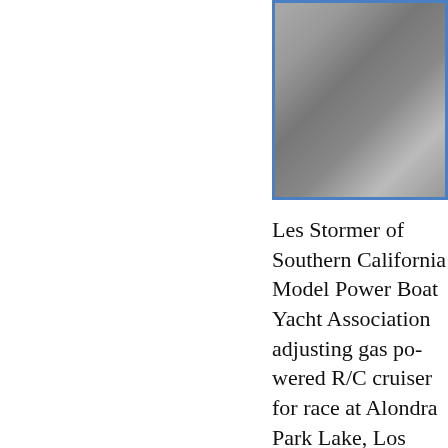[Figure (photo): Black and white photograph of a person with a model boat, bordered in blue]
Les Stormer of Southern California Model Power Boat Yacht Association adjusting gas powered R/C cruiser for race at Alondra Park Lake, Los Angeles. Very complete in det...